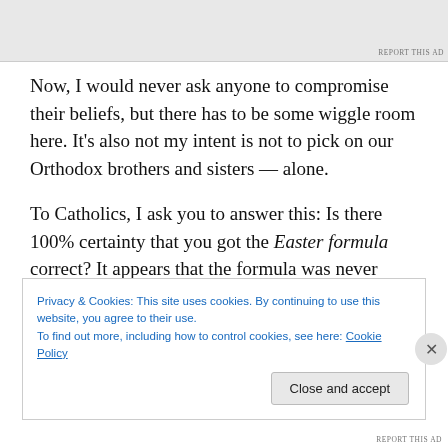[Figure (other): Advertisement banner at top of page, gray background]
Now, I would never ask anyone to compromise their beliefs, but there has to be some wiggle room here. It’s also not my intent is not to pick on our Orthodox brothers and sisters — alone.
To Catholics, I ask you to answer this: Is there 100% certainty that you got the Easter formula correct? It appears that the formula was never written down. Even the Colonel’s fried chicken recipe and secret recipe for
Privacy & Cookies: This site uses cookies. By continuing to use this website, you agree to their use.
To find out more, including how to control cookies, see here: Cookie Policy